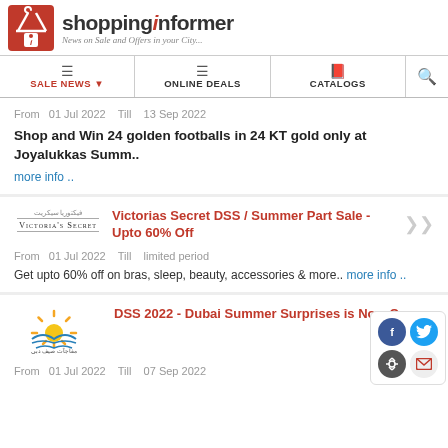[Figure (logo): ShoppingInformer logo with tagline 'News on Sale and Offers in your City...']
SALE NEWS ▾  |  ONLINE DEALS  |  CATALOGS
From  01 Jul 2022   Till   13 Sep 2022
Shop and Win 24 golden footballs in 24 KT gold only at Joyalukkas Summ.. more info ..
[Figure (logo): Victoria's Secret logo]
Victorias Secret DSS / Summer Part Sale - Upto 60% Off
From  01 Jul 2022   Till   limited period
Get upto 60% off on bras, sleep, beauty, accessories & more.. more info ..
[Figure (logo): Dubai Summer Surprises logo]
DSS 2022 - Dubai Summer Surprises is Now On
From  01 Jul 2022   Till   07 Sep 2022